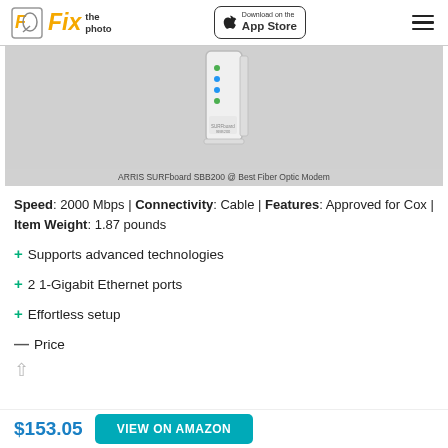Fix the photo | Download on the App Store
[Figure (photo): ARRIS SURFboard SBB200 modem on gray background]
ARRIS SURFboard SBB200 @ Best Fiber Optic Modem
Speed: 2000 Mbps | Connectivity: Cable | Features: Approved for Cox | Item Weight: 1.87 pounds
+ Supports advanced technologies
+ 2 1-Gigabit Ethernet ports
+ Effortless setup
— Price
$153.05
VIEW ON AMAZON